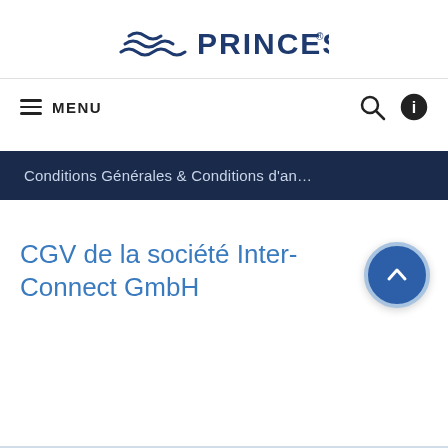[Figure (logo): Princess Cruises logo with wave icon and PRINCESS text in dark blue]
≡ MENU
Conditions Générales & Conditions d'an…
CGV de la société Inter-Connect GmbH